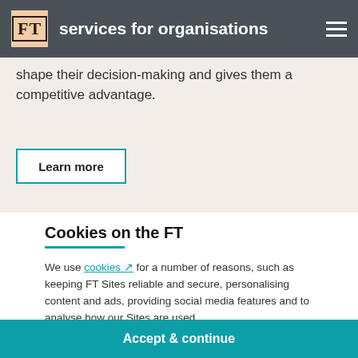FT services for organisations
shape their decision-making and gives them a competitive advantage.
Learn more
Cookies on the FT
We use cookies for a number of reasons, such as keeping FT Sites reliable and secure, personalising content and ads, providing social media features and to analyse how our Sites are used.
Manage cookies
Accept & continue